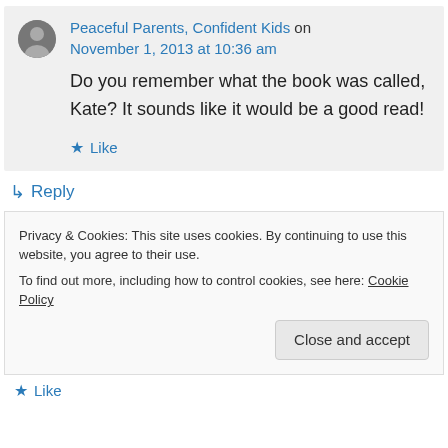Peaceful Parents, Confident Kids on November 1, 2013 at 10:36 am
Do you remember what the book was called, Kate? It sounds like it would be a good read!
★ Like
↳ Reply
Privacy & Cookies: This site uses cookies. By continuing to use this website, you agree to their use. To find out more, including how to control cookies, see here: Cookie Policy
Close and accept
★ Like